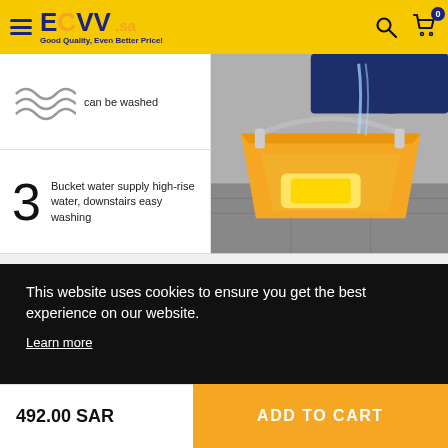ECVV .sa — Good Quality, Even Better Price!
[Figure (screenshot): Product feature panel showing wave icon with text 'can be washed' and step 3 with text 'Bucket water supply high-rise water, downstairs easy washing', alongside photo of orange bucket outdoors]
This website uses cookies to ensure you get the best experience on our website.
Learn more
1
Chat with us
492.00 SAR
ADD TO CART